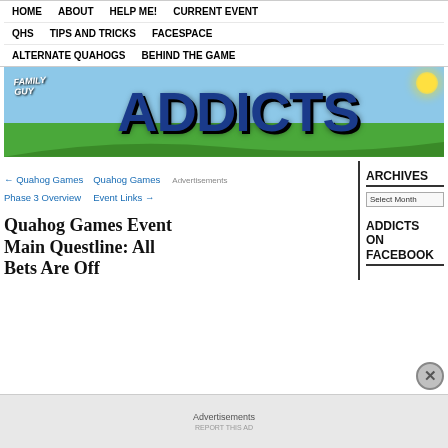HOME | ABOUT | HELP ME! | CURRENT EVENT | QHS | TIPS AND TRICKS | FACESPACE | ALTERNATE QUAHOGS | BEHIND THE GAME
[Figure (logo): Family Guy Addicts website banner logo with blue sky, green grass background and large blue 'ADDICTS' text with 'Family Guy' subtitle]
← Quahog Games Phase 3 Overview
Quahog Games Event Links →
Advertisements
ARCHIVES
Select Month
ADDICTS ON FACEBOOK
Quahog Games Event Main Questline: All Bets Are Off
Advertisements